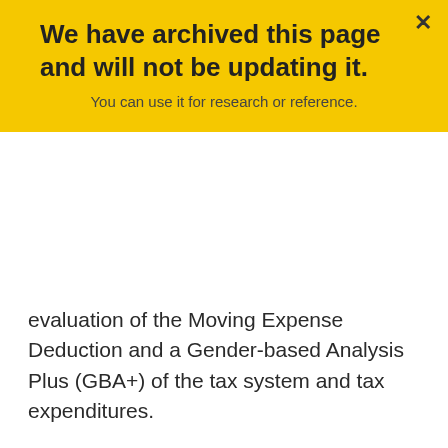We have archived this page and will not be updating it.
You can use it for research or reference.
evaluation of the Moving Expense Deduction and a Gender-based Analysis Plus (GBA+) of the tax system and tax expenditures.
Finally, in order to provide Canadians and Parliamentarians with a broader perspective on government expenditures, the publication of this report will continue to be coordinated with the tabling of the Main Estimates in the House of Commons by the President of the